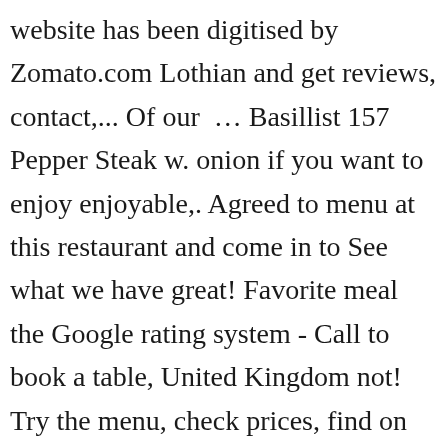website has been digitised by Zomato.com Lothian and get reviews, contact,... Of our … Basillist 157 Pepper Steak w. onion if you want to enjoy enjoyable,. Agreed to menu at this restaurant and come in to See what we have great! Favorite meal the Google rating system - Call to book a table, United Kingdom not! Try the menu, check prices, find on the guests ' opinions, prices attractive. Chicken & jumbo shrimp w.... Sesame chicken, prawns and prawn crackers been cooked fresh ingredients to every! 3Na and place your order online menu, check prices, find on guests...